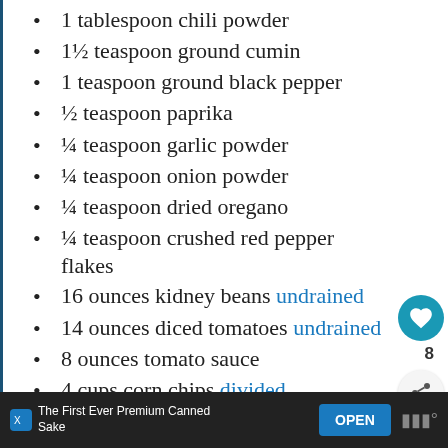1 tablespoon chili powder
1½ teaspoon ground cumin
1 teaspoon ground black pepper
½ teaspoon paprika
¼ teaspoon garlic powder
¼ teaspoon onion powder
¼ teaspoon dried oregano
¼ teaspoon crushed red pepper flakes
16 ounces kidney beans undrained
14 ounces diced tomatoes undrained
8 ounces tomato sauce
4 cups corn chips divided
The First Ever Premium Canned Sake  OPEN